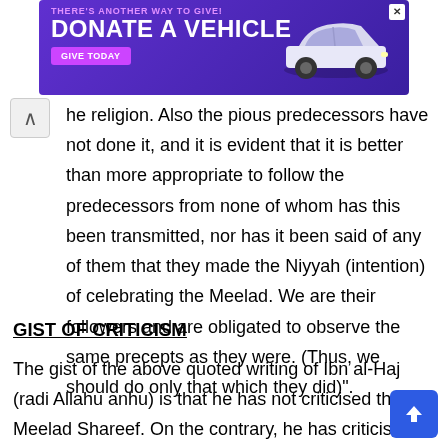[Figure (other): Advertisement banner with purple background: 'THERE'S ANOTHER WAY TO GIVE! DONATE A VEHICLE — GIVE TODAY' with a car image]
he religion. Also the pious predecessors have not done it, and it is evident that it is better than more appropriate to follow the predecessors from none of whom has this been transmitted, nor has it been said of any of them that they made the Niyyah (intention) of celebrating the Meelad. We are their followers and are obligated to observe the same precepts as they were. (Thus, we should do only that which they did)".
GIST OF CRITICISM
The gist of the above quoted writing of Ibn al-Haj (radi Allahu anhu) is that he has not criticised the Meelad Shareef. On the contrary, he has criticised those things which are Haraam and Makruh in the